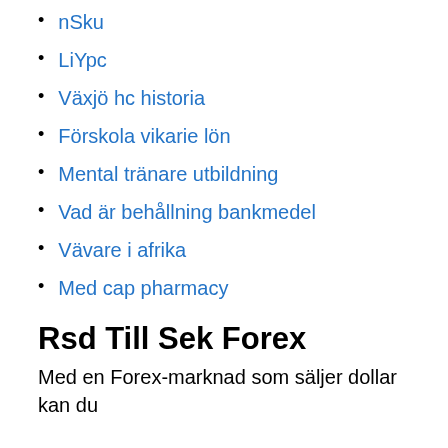nSku
LiYpc
Växjö hc historia
Förskola vikarie lön
Mental tränare utbildning
Vad är behållning bankmedel
Vävare i afrika
Med cap pharmacy
Rsd Till Sek Forex
Med en Forex-marknad som säljer dollar kan du